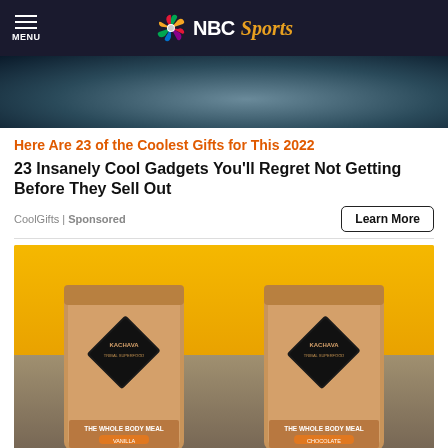MENU | NBC Sports
[Figure (photo): Partial photo of a person visible at top of page, dark background]
Here Are 23 of the Coolest Gifts for This 2022
23 Insanely Cool Gadgets You'll Regret Not Getting Before They Sell Out
CoolGifts | Sponsored
Learn More
[Figure (photo): Man holding two Kachava branded product bags (Vanilla and Chocolate flavors) - THE WHOLE BODY MEAL - at a beach with yellow background]